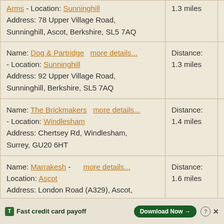| Name/Address | Distance | Rating |
| --- | --- | --- |
| Arms - Location: Sunninghill
Address: 78 Upper Village Road, Sunninghill, Ascot, Berkshire, SL5 7AQ | 1.3 miles | 5.0/ |
| Name: Dog & Partridge more details... - Location: Sunninghill
Address: 92 Upper Village Road, Sunninghill, Berkshire, SL5 7AQ | Distance: 1.3 miles | Rati 6.9/ |
| Name: The Brickmakers more details... - Location: Windlesham
Address: Chertsey Rd, Windlesham, Surrey, GU20 6HT | Distance: 1.4 miles | Rati 6.4/ |
| Name: Marrakesh - more details... Location: Ascot
Address: London Road (A329), Ascot, Berks | Distance: 1.6 miles | Rati 4.2/ |
[Figure (screenshot): Tally advertisement banner at bottom of page: 'Fast credit card payoff' with Download Now button]